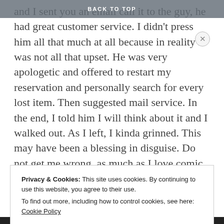BACK TO TOP
and I sent you an email call it to the guy, he had great customer service. I didn't press him all that much at all because in reality I was not all that upset. He was very apologetic and offered to restart my reservation and personally search for every lost item. Then suggested mail service. In the end, I told him I will think about it and I walked out. As I left, I kinda grinned. This may have been a blessing in disguise. Do not get me wrong, as much as I love comic books I should be sad but, I also know that once you become a collector...your collection owns you.
Privacy & Cookies: This site uses cookies. By continuing to use this website, you agree to their use. To find out more, including how to control cookies, see here: Cookie Policy
Close and accept